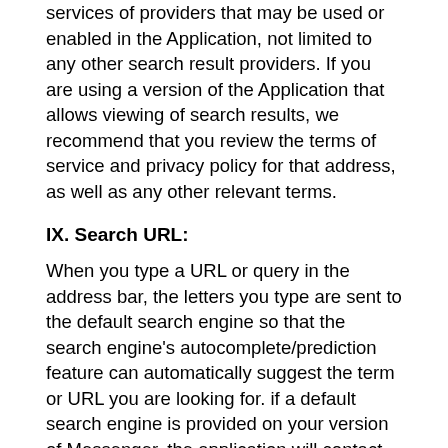services of providers that may be used or enabled in the Application, not limited to any other search result providers. If you are using a version of the Application that allows viewing of search results, we recommend that you review the terms of service and privacy policy for that address, as well as any other relevant terms.
IX. Search URL:
When you type a URL or query in the address bar, the letters you type are sent to the default search engine so that the search engine's autocomplete/prediction feature can automatically suggest the term or URL you are looking for. if a default search engine is provided on your version of Messenger, the application will contact your default search engine when you start or change networks to determine the best local address. For example, if Google is set as the default search engine, the application will contact Google as described here unless you change this default setting. When you type a URL or query into the application, the letters you type may be sent to the applicable search engine so that the search